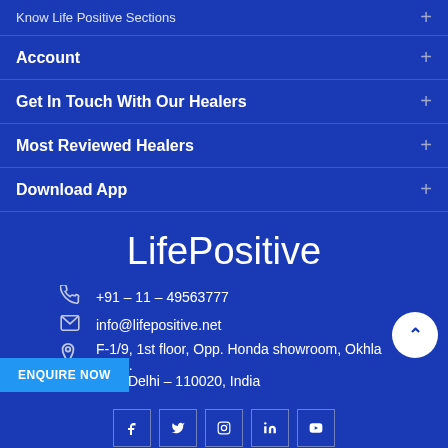Know Life Positive Sections +
Account +
Get In Touch With Our Healers +
Most Reviewed Healers +
Download App +
LifePositive
+91 – 11 – 49563777
info@lifepositive.net
F-1/9, 1st floor, Opp. Honda showroom, Okhla Phase New Delhi – 110020, India
[Figure (other): Social media icons: Facebook, Twitter, Instagram, LinkedIn, YouTube]
ENQUIRE NOW